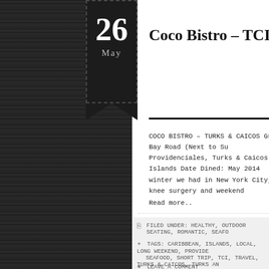Coco Bistro – TCI
COCO BISTRO – TURKS & CAICOS Grace Bay Road (Next to Su Providenciales, Turks & Caicos Islands Date Dined: May 2014 winter we had in New York City, a knee surgery and weekend Read more..
FILED UNDER: HEALTHY, OUTDOOR SEATING, ROMANTIC, SEAFO
TAGS: CARIBBEAN, ISLANDS, LOCAL, LONG WEEKEND, PROVIDE SEAFOOD, SHORT TRIP, TCI, TRAVEL, TURKS & CAICOS, TURKS AN
LEAVE A COMMENT